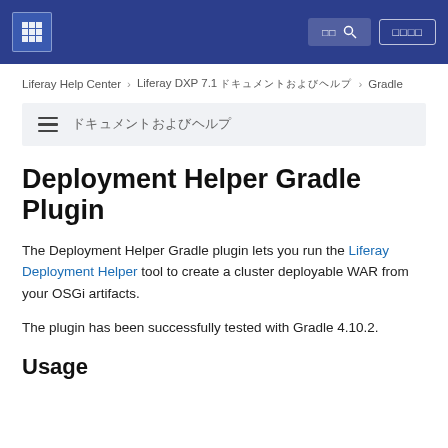Liferay Help Center navigation bar with logo, search, and login button
Liferay Help Center > Liferay DXP 7.1 ドキュメントおよびヘルプ > Gradle
≡ ドキュメントおよびヘルプ
Deployment Helper Gradle Plugin
The Deployment Helper Gradle plugin lets you run the Liferay Deployment Helper tool to create a cluster deployable WAR from your OSGi artifacts.
The plugin has been successfully tested with Gradle 4.10.2.
Usage